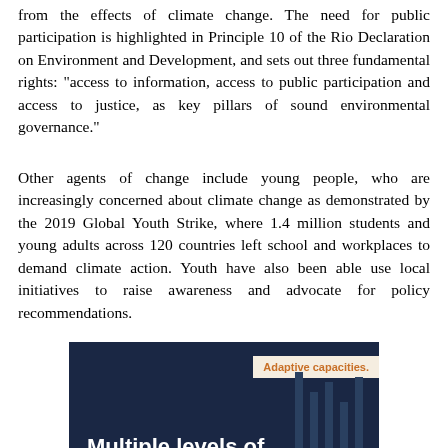from the effects of climate change. The need for public participation is highlighted in Principle 10 of the Rio Declaration on Environment and Development, and sets out three fundamental rights: "access to information, access to public participation and access to justice, as key pillars of sound environmental governance."
Other agents of change include young people, who are increasingly concerned about climate change as demonstrated by the 2019 Global Youth Strike, where 1.4 million students and young adults across 120 countries left school and workplaces to demand climate action. Youth have also been able use local initiatives to raise awareness and advocate for policy recommendations.
[Figure (illustration): Dark navy blue infographic card with a beige tag reading 'Adaptive capacities.' in orange bold text, and large white bold text reading 'Multiple levels of society need' over a dark background with building silhouette lines on the right.]